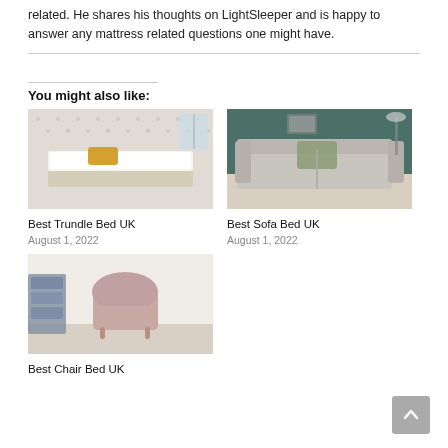related. He shares his thoughts on LightSleeper and is happy to answer any mattress related questions one might have.
You might also like:
[Figure (photo): A trundle bed with white mattress and yellow pillow on patterned wallpaper background]
Best Trundle Bed UK
August 1, 2022
[Figure (photo): A grey sofa bed with green cushion in a teal-walled room]
Best Sofa Bed UK
August 1, 2022
[Figure (photo): A pink velvet chair bed against a white and grey background]
Best Chair Bed UK